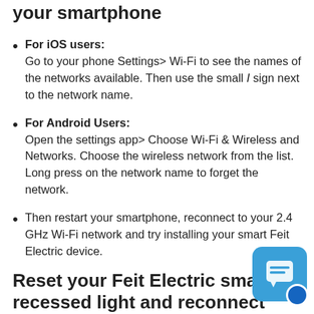your smartphone
For iOS users: Go to your phone Settings> Wi-Fi to see the names of the networks available. Then use the small I sign next to the network name.
For Android Users: Open the settings app> Choose Wi-Fi & Wireless and Networks. Choose the wireless network from the list. Long press on the network name to forget the network.
Then restart your smartphone, reconnect to your 2.4 GHz Wi-Fi network and try installing your smart Feit Electric device.
Reset your Feit Electric smart recessed light and reconnect